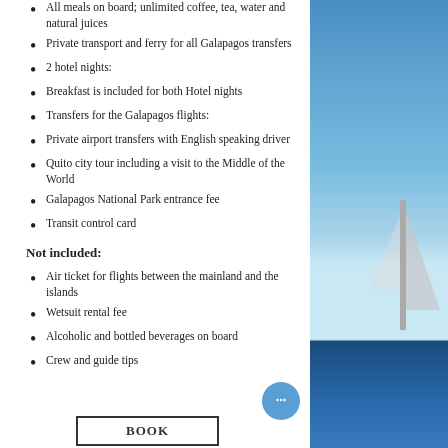All meals on board; unlimited coffee, tea, water and natural juices
Private transport and ferry for all Galapagos transfers
2 hotel nights:
Breakfast is included for both Hotel nights
Transfers for the Galapagos flights:
Private airport transfers with English speaking driver
Quito city tour including a visit to the Middle of the World
Galapagos National Park entrance fee
Transit control card
Not included:
Air ticket for flights between the mainland and the islands
Wetsuit rental fee
Alcoholic and bottled beverages on board
Crew and guide tips
[Figure (photo): Side panel showing blue sky and sailing boat mast on ocean]
BOOK